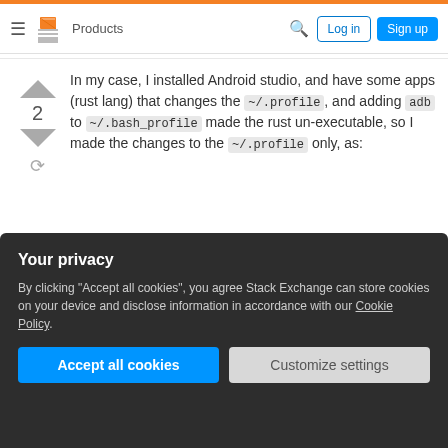[Figure (screenshot): Stack Overflow navigation bar with hamburger menu, logo, Products link, search icon, Log in button, and Sign up button]
In my case, I installed Android studio, and have some apps (rust lang) that changes the ~/.profile , and adding adb to ~/.bash_profile made the rust un-executable, so I made the changes to the ~/.profile only, as:
$ echo 'PATH=$PATH:$HOME/Library/Android/sd
$ source ~/.profile
$ adb --version
Android Debug Bridge version 1.0.41
Version 30.0.4.5071666
Your privacy
By clicking "Accept all cookies", you agree Stack Exchange can store cookies on your device and disclose information in accordance with our Cookie Policy.
Accept all cookies
Customize settings